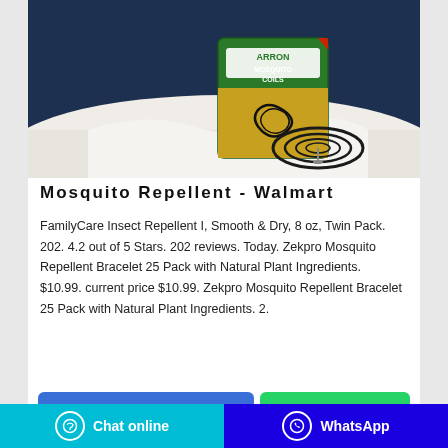[Figure (photo): Product photo of Arron Mosquito Coils box with a mosquito coil displayed on a white surface against a dark blue background]
Mosquito Repellent - Walmart
FamilyCare Insect Repellent I, Smooth & Dry, 8 oz, Twin Pack. 202. 4.2 out of 5 Stars. 202 reviews. Today. Zekpro Mosquito Repellent Bracelet 25 Pack with Natural Plant Ingredients. $10.99. current price $10.99. Zekpro Mosquito Repellent Bracelet 25 Pack with Natural Plant Ingredients. 2.
Contact the manufacturer
WhatsApp
Chat online | WhatsApp